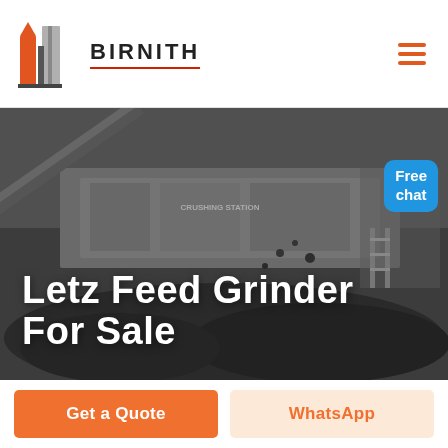[Figure (logo): Birnith logo with orange/red building icon and company name in bold uppercase letters with red underline]
[Figure (photo): Industrial crushing station machinery with large equipment, conveyor belts, and coal/rock material in dark industrial setting]
Letz Feed Grinder For Sale
Free chat
Get a Quote
WhatsApp